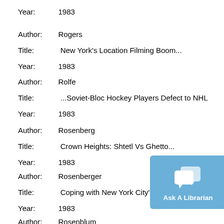Author: Rogers
Title: New York's Location Filming Boom...
Year: 1983
Author: Rolfe
Title: ...Soviet-Bloc Hockey Players Defect to NHL
Year: 1983
Author: Rosenberg
Title: Crown Heights: Shtetl Vs Ghetto...
Year: 1983
Author: Rosenberger
Title: Coping with New York City's Water D...
Year: 1983
Author: Rosenblum
[Figure (other): Ask A Librarian chat button overlay in blue]